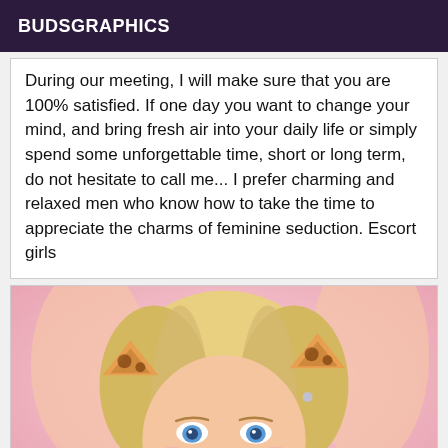BUDSGRAPHICS
During our meeting, I will make sure that you are 100% satisfied. If one day you want to change your mind, and bring fresh air into your daily life or simply spend some unforgettable time, short or long term, do not hesitate to call me... I prefer charming and relaxed men who know how to take the time to appreciate the charms of feminine seduction. Escort girls
[Figure (photo): A young blonde woman lying down with cat/leopard ear accessories and face filter decorations on a pink background, looking upward with blue eyes.]